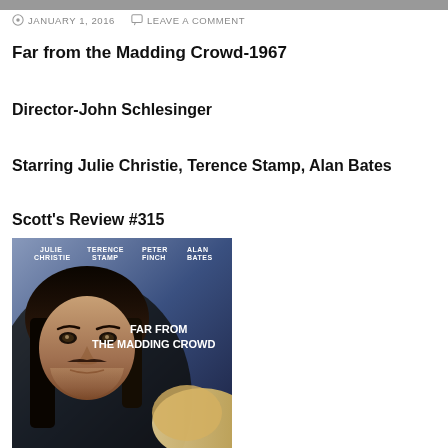JANUARY 1, 2016   LEAVE A COMMENT
Far from the Madding Crowd-1967
Director-John Schlesinger
Starring Julie Christie, Terence Stamp, Alan Bates
Scott's Review #315
[Figure (photo): Movie poster for Far from the Madding Crowd (1967) featuring cast names Julie Christie, Terence Stamp, Peter Finch, Alan Bates at the top, a close-up of a man's face with dark hair and mustache, and a woman's blonde hair visible, with the film title displayed prominently.]